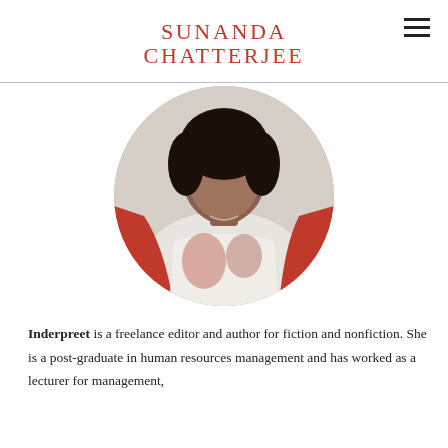SUNANDA CHATTERJEE
[Figure (photo): Circular cropped portrait photo of a woman wearing a white and red embroidered sari, with curly dark hair, photographed from the chest up against a light background.]
Inderpreet is a freelance editor and author for fiction and nonfiction. She is a post-graduate in human resources management and has worked as a lecturer for management,